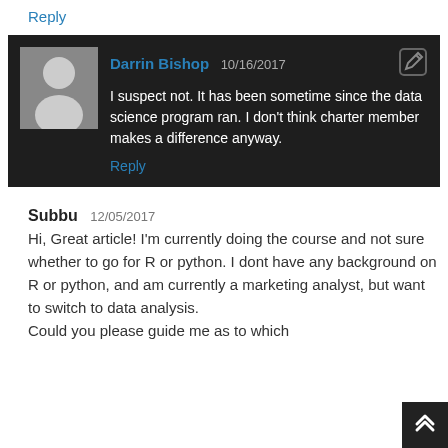Reply
Darrin Bishop 10/16/2017
I suspect not. It has been sometime since the data science program ran. I don't think charter member makes a difference anyway.
Reply
Subbu 12/05/2017
Hi, Great article! I'm currently doing the course and not sure whether to go for R or python. I dont have any background on R or python, and am currently a marketing analyst, but want to switch to data analysis.
Could you please guide me as to which